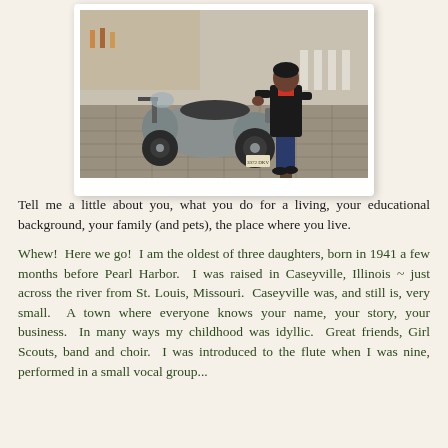[Figure (photo): A person in a black leather jacket standing next to a silver/grey motor scooter on a tiled sidewalk. A street crossing is visible in the background.]
Tell me a little about you, what you do for a living, your educational background, your family (and pets), the place where you live.
Whew!  Here we go!  I am the oldest of three daughters, born in 1941 a few months before Pearl Harbor.  I was raised in Caseyville, Illinois ~ just across the river from St. Louis, Missouri.  Caseyville was, and still is, very small.  A town where everyone knows your name, your story, your business.  In many ways my childhood was idyllic.  Great friends, Girl Scouts, band and choir.  I was introduced to the flute when I was nine, performed in a small vocal group...